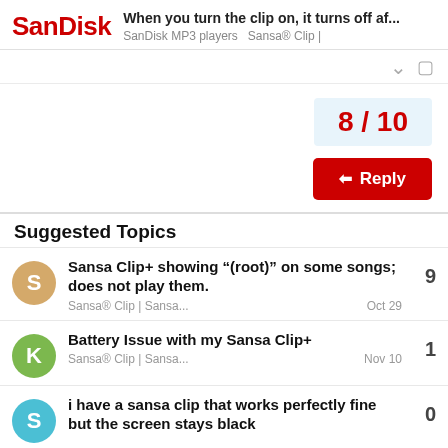SanDisk — When you turn the clip on, it turns off af... | SanDisk MP3 players  Sansa® Clip |
8 / 10
Reply
Suggested Topics
Sansa Clip+ showing "(root)" on some songs; does not play them. | Sansa® Clip | Sansa... | Oct 29 | 9
Battery Issue with my Sansa Clip+ | Sansa® Clip | Sansa... | Nov 10 | 1
i have a sansa clip that works perfectly fine but the screen stays black | 0